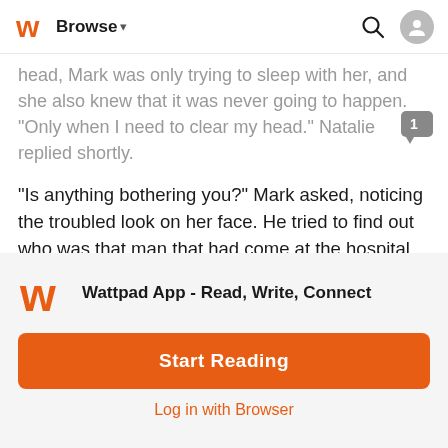Browse
head, Mark was only trying to sleep with her, and she also knew that it was never going to happen. "Only when I need to clear my head." Natalie replied shortly.
"Is anything bothering you?" Mark asked, noticing the troubled look on her face. He tried to find out who was that man that had come at the hospital the other day. But it's not like anyone would tell him.
"A lot of things."
"Does this have to do with the visit of that man the other day? Who was he anyway?" Natalie stopped jogging and turned to
[Figure (logo): Wattpad logo orange W]
Wattpad App - Read, Write, Connect
Start Reading
Log in with Browser